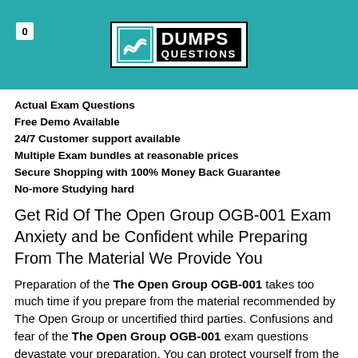[Figure (logo): DumpsQuestions logo with teal background header, counter badge showing 0, and logo with S-shaped icon and DUMPS QUESTIONS text]
Actual Exam Questions
Free Demo Available
24/7 Customer support available
Multiple Exam bundles at reasonable prices
Secure Shopping with 100% Money Back Guarantee
No-more Studying hard
Get Rid Of The Open Group OGB-001 Exam Anxiety and be Confident while Preparing From The Material We Provide You
Preparation of the The Open Group OGB-001 takes too much time if you prepare from the material recommended by The Open Group or uncertified third parties. Confusions and fear of the The Open Group OGB-001 exam questions devastate your preparation. You can protect yourself from the fear, confusion, failure, loss of time and money by using Dumps Questions The Open Group Certification OGB-